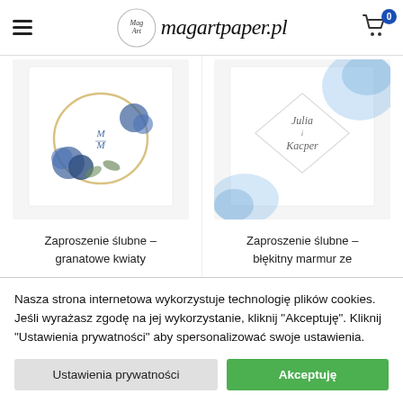magartpaper.pl
[Figure (photo): Wedding invitation with dark blue roses and golden ring on white background, monogram M]
Zaproszenie ślubne – granatowe kwiaty
[Figure (photo): Wedding invitation with blue marble watercolor and cursive names Julia i Kacper]
Zaproszenie ślubne – błękitny marmur ze
Nasza strona internetowa wykorzystuje technologię plików cookies. Jeśli wyrażasz zgodę na jej wykorzystanie, kliknij "Akceptuję". Kliknij "Ustawienia prywatności" aby spersonalizować swoje ustawienia.
Ustawienia prywatności
Akceptuję